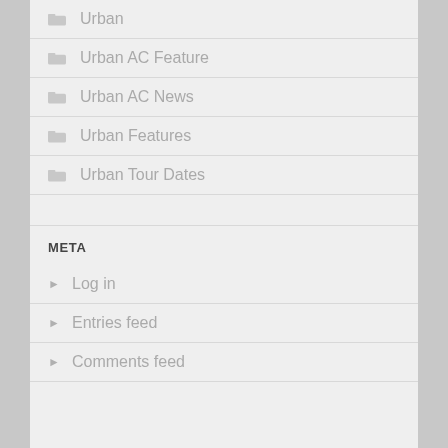Urban
Urban AC Feature
Urban AC News
Urban Features
Urban Tour Dates
META
Log in
Entries feed
Comments feed